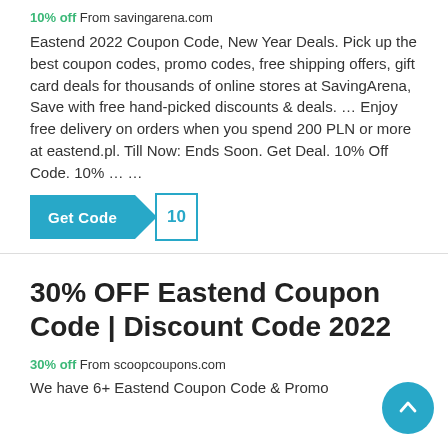10% off From savingarena.com
Eastend 2022 Coupon Code, New Year Deals. Pick up the best coupon codes, promo codes, free shipping offers, gift card deals for thousands of online stores at SavingArena, Save with free hand-picked discounts & deals. … Enjoy free delivery on orders when you spend 200 PLN or more at eastend.pl. Till Now: Ends Soon. Get Deal. 10% Off Code. 10% … …
[Figure (other): Get Code button with teal background and code tab showing '10']
30% OFF Eastend Coupon Code | Discount Code 2022
30% off From scoopcoupons.com
We have 6+ Eastend Coupon Code & Promo